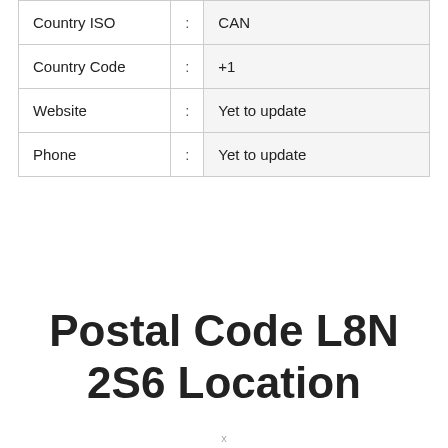| Field | Sep | Value |
| --- | --- | --- |
| Country ISO | : | CAN |
| Country Code | : | +1 |
| Website | : | Yet to update |
| Phone | : | Yet to update |
Postal Code L8N 2S6 Location